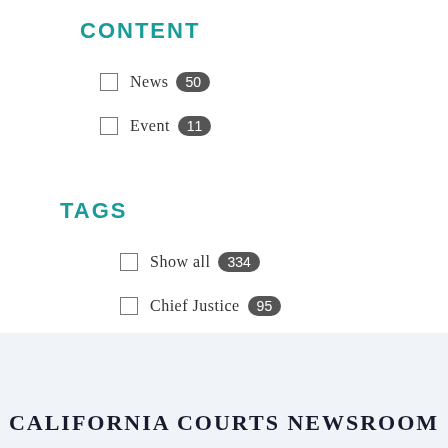CONTENT
News 50
Event 11
TAGS
Show all 334
Chief Justice 95
Judicial Council 85
Show more
CALIFORNIA COURTS NEWSROOM